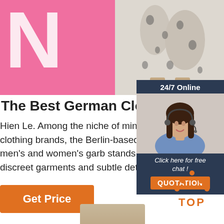[Figure (photo): Top banner with pink background, large white letter N, and floral-patterned clothing on a mannequin]
The Best German Clothing Brand
Hien Le. Among the niche of minimalist G clothing brands, the Berlin-based designe men's and women's garb stands out for its discreet garments and subtle detailing.
[Figure (photo): 24/7 Online chat widget with a female customer service representative wearing a headset, and a 'Click here for free chat! QUOTATION' button]
[Figure (illustration): Orange Get Price button]
[Figure (illustration): TOP icon with orange arrow dots pointing upward and orange TOP text]
[Figure (photo): Partial bottom image of tan/beige object]